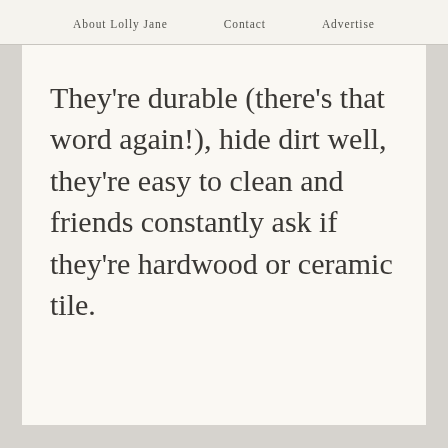About Lolly Jane   Contact   Advertise
They're durable (there's that word again!), hide dirt well, they're easy to clean and friends constantly ask if they're hardwood or ceramic tile.